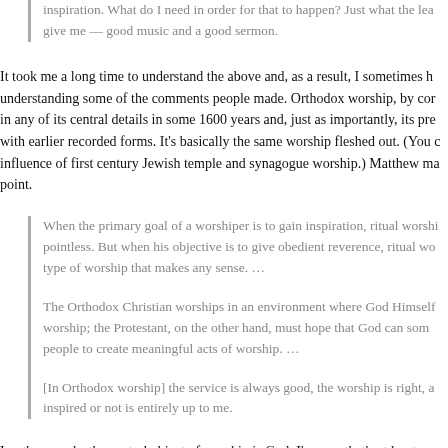inspiration. What do I need in order for that to happen? Just what the lea give me — good music and a good sermon.
It took me a long time to understand the above and, as a result, I sometimes h understanding some of the comments people made. Orthodox worship, by cor in any of its central details in some 1600 years and, just as importantly, its pre with earlier recorded forms. It's basically the same worship fleshed out. (You c influence of first century Jewish temple and synagogue worship.) Matthew ma point.
When the primary goal of a worshiper is to gain inspiration, ritual worshi pointless. But when his objective is to give obedient reverence, ritual wo type of worship that makes any sense. …
The Orthodox Christian worships in an environment where God Himself worship; the Protestant, on the other hand, must hope that God can som people to create meaningful acts of worship. …
[In Orthodox worship] the service is always good, the worship is right, a inspired or not is entirely up to me.
In other words, the central object of worship is God. I'm sure that's at least pa only worship God has ever directly ordained has been liturgical, ritual worship